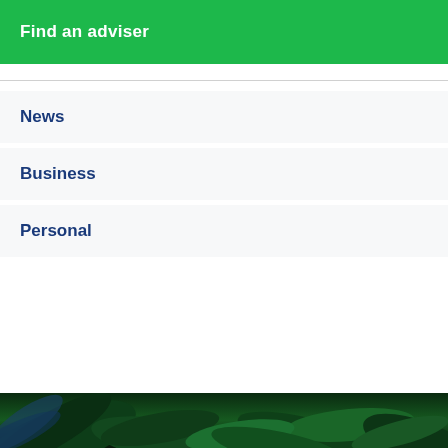Find an adviser
News
Business
Personal
[Figure (photo): Dark green tropical foliage/leaves background image at bottom of page]